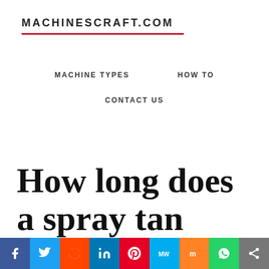MACHINESCRAFT.COM
MACHINE TYPES    HOW TO    CONTACT US
How long does a spray tan last?
[Figure (other): Social media sharing bar with icons for Facebook, Twitter, Reddit, LinkedIn, Pinterest, MeWe, Mix, WhatsApp, Share]